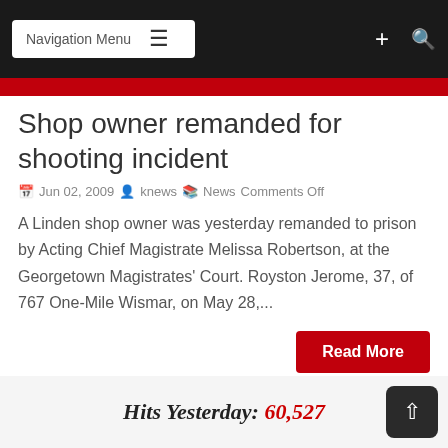Navigation Menu
Shop owner remanded for shooting incident
Jun 02, 2009  knews  News Comments Off
A Linden shop owner was yesterday remanded to prison by Acting Chief Magistrate Melissa Robertson, at the Georgetown Magistrates' Court. Royston Jerome, 37, of 767 One-Mile Wismar, on May 28,...
Read More
1  2  NEXT
Hits Yesterday: 60,527